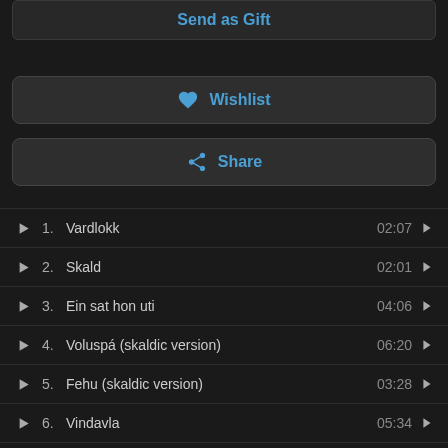Send as Gift
Wishlist
Share
1. Vardlokk  02:07
2. Skald  02:01
3. Ein sat hon uti  04:06
4. Voluspá (skaldic version)  06:20
5. Fehu (skaldic version)  03:28
6. Vindavla  05:34
7. Ormagardskvedi  03:10